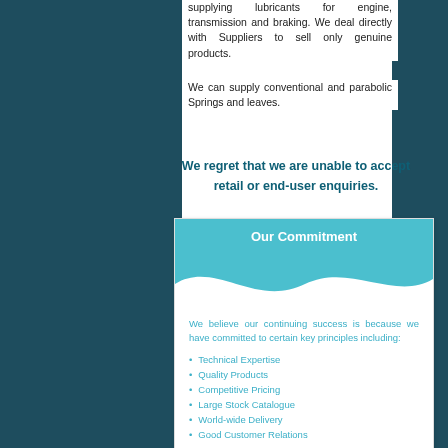supplying lubricants for engine, transmission and braking. We deal directly with Suppliers to sell only genuine products.
We can supply conventional and parabolic Springs and leaves.
We regret that we are unable to accept retail or end-user enquiries.
[Figure (infographic): Our Commitment box with teal wave header and bullet list of key principles]
We believe our continuing success is because we have committed to certain key principles including:
Technical Expertise
Quality Products
Competitive Pricing
Large Stock Catalogue
World-wide Delivery
Good Customer Relations